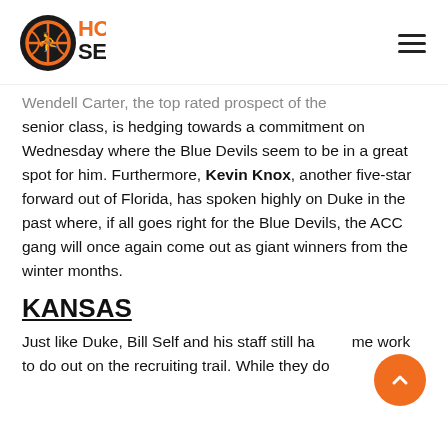HoopSeen
Wendell Carter, the top rated prospect of the senior class, is hedging towards a commitment on Wednesday where the Blue Devils seem to be in a great spot for him. Furthermore, Kevin Knox, another five-star forward out of Florida, has spoken highly on Duke in the past where, if all goes right for the Blue Devils, the ACC gang will once again come out as giant winners from the winter months.
KANSAS
Just like Duke, Bill Self and his staff still have some work to do out on the recruiting trail. While they do